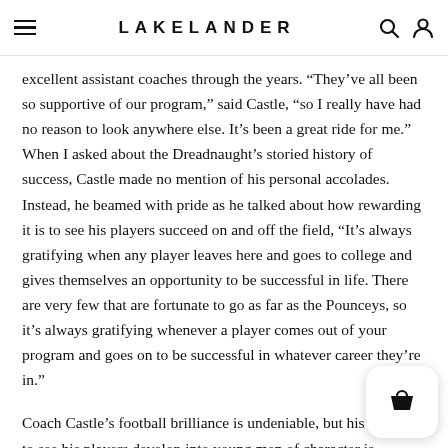LAKELANDER
excellent assistant coaches through the years. “They’ve all been so supportive of our program,” said Castle, “so I really have had no reason to look anywhere else. It’s been a great ride for me.” When I asked about the Dreadnaught’s storied history of success, Castle made no mention of his personal accolades. Instead, he beamed with pride as he talked about how rewarding it is to see his players succeed on and off the field, “It’s always gratifying when any player leaves here and goes to college and gives themselves an opportunity to be successful in life. There are very few that are fortunate to go as far as the Pounceys, so it’s always gratifying whenever a player comes out of your program and goes on to be successful in whatever career they’re in.”
Coach Castle’s football brilliance is undeniable, but his passion to see his players develop into young men of character is perhaps his most impressive characteristic. When asked about tonight’s homecoming game against George Jenkins, Castle was quick to talk about the new Dreadnaught tradition of waving to the children in the new pediatrics wing at Lakeland Regional after the first quarter. “That’s a really special moment,” said Castle…